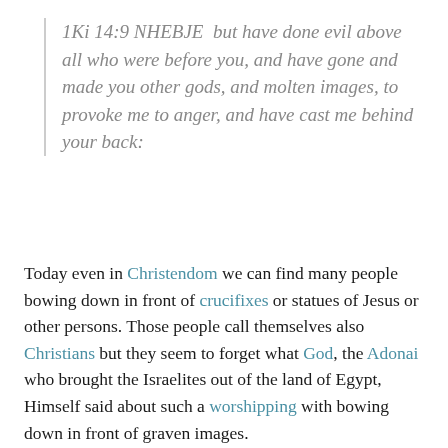1Ki 14:9 NHEBJE  but have done evil above all who were before you, and have gone and made you other gods, and molten images, to provoke me to anger, and have cast me behind your back:
Today even in Christendom we can find many people bowing down in front of crucifixes or statues of Jesus or other persons. Those people call themselves also Christians but they seem to forget what God, the Adonai who brought the Israelites out of the land of Egypt, Himself said about such a worshipping with bowing down in front of graven images.